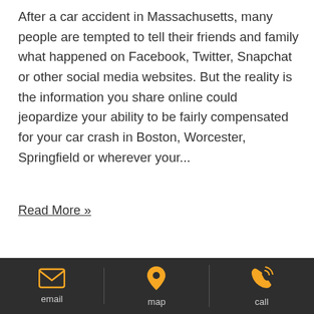After a car accident in Massachusetts, many people are tempted to tell their friends and family what happened on Facebook, Twitter, Snapchat or other social media websites. But the reality is the information you share online could jeopardize your ability to be fairly compensated for your car crash in Boston, Worcester, Springfield or wherever your...
Read More »
Uber Drivers – Are They Independent Contractors or...
email | map | call